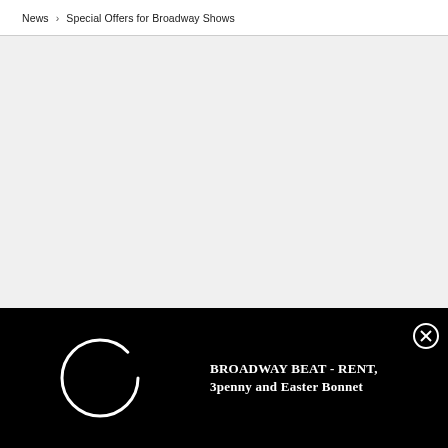News › Special Offers for Broadway Shows
[Figure (screenshot): Large empty light gray content area, representing a loading or blank page section]
[Figure (other): Black video player bar at bottom with circular loading spinner on left, video title text 'BROADWAY BEAT - RENT, 3penny and Easter Bonnet' in white serif font, and a close (X) button circle on the right]